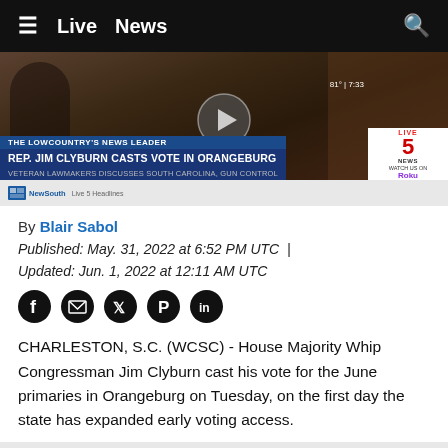Live  News
[Figure (screenshot): TV news screenshot showing Rep. Jim Clyburn casting vote in Orangeburg. Lower thirds overlay reads: THE LOWCOUNTRY'S NEWS LEADER / REP. JIM CLYBURN CASTS VOTE IN ORANGEBURG / VETERAN LAWMAKERS DISCUSSES SOUTH CAROLINA, GUN CONTROL. Live 5 News badge and NewSouth logo visible.]
By Blair Sabol
Published: May. 31, 2022 at 6:52 PM UTC  |  Updated: Jun. 1, 2022 at 12:11 AM UTC
[Figure (infographic): Social media share icons: Facebook, Email, Twitter, Pinterest, LinkedIn]
CHARLESTON, S.C. (WCSC) - House Majority Whip Congressman Jim Clyburn cast his vote for the June primaries in Orangeburg on Tuesday, on the first day the state has expanded early voting access.
Gov. Henry McMaster signed the bill into law earlier this month, replacing in-person absentee ballots